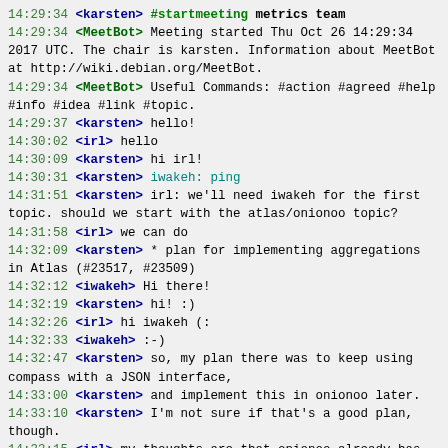14:29:34 <karsten> #startmeeting metrics team
14:29:34 <MeetBot> Meeting started Thu Oct 26 14:29:34 2017 UTC.  The chair is karsten. Information about MeetBot at http://wiki.debian.org/MeetBot.
14:29:34 <MeetBot> Useful Commands: #action #agreed #help #info #idea #link #topic.
14:29:37 <karsten> hello!
14:30:02 <irl> hello
14:30:09 <karsten> hi irl!
14:30:31 <karsten> iwakeh: ping
14:31:51 <karsten> irl: we'll need iwakeh for the first topic. should we start with the atlas/onionoo topic?
14:31:58 <irl> we can do
14:32:09 <karsten> * plan for implementing aggregations in Atlas (#23517, #23509)
14:32:12 <iwakeh> Hi there!
14:32:19 <karsten> hi! :)
14:32:26 <irl> hi iwakeh (:
14:32:33 <iwakeh> :-)
14:32:47 <karsten> so, my plan there was to keep using compass with a JSON interface,
14:33:00 <karsten> and implement this in onionoo later.
14:33:10 <karsten> I'm not sure if that's a good plan, though.
14:33:15 <irl> my thoughts are that onionoo already has all the data required to do compass things
14:33:31 <karsten> true.
14:33:35 <iwakeh> what speaks against?
14:33:41 <irl> it doesn't mean adding extra data, just a new document type with some aggregations in it.